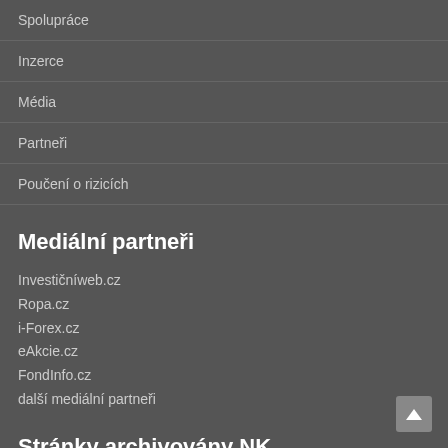Spolupráce
Inzerce
Média
Partneři
Poučení o rizicích
Mediální partneři
Investičníweb.cz
Ropa.cz
i-Forex.cz
eAkcie.cz
FondInfo.cz
další mediální partneři
Stránky archivovány NK
[Figure (logo): WebArchiv logo image]
- archiv
českého webu